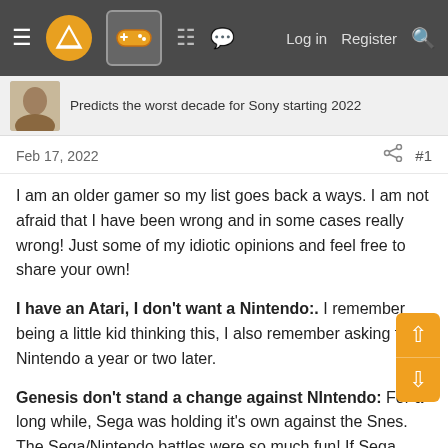≡ [logo] [gamepad icon] [grid icon] [chat icon]  Log in  Register  🔍
Predicts the worst decade for Sony starting 2022
Feb 17, 2022   #1
I am an older gamer so my list goes back a ways. I am not afraid that I have been wrong and in some cases really wrong! Just some of my idiotic opinions and feel free to share your own!
I have an Atari, I don't want a Nintendo:. I remember being a little kid thinking this, I also remember asking for a Nintendo a year or two later.
Genesis don't stand a change against Nintendo: For a long while, Sega was holding it's own against the Snes. The Sega/Nintendo battles were so much fun! If Sega didn't go crazy with the 32x, sega cd, jumping ship early on the saturn, etc. Sega would still be a player today.
Sega should have...